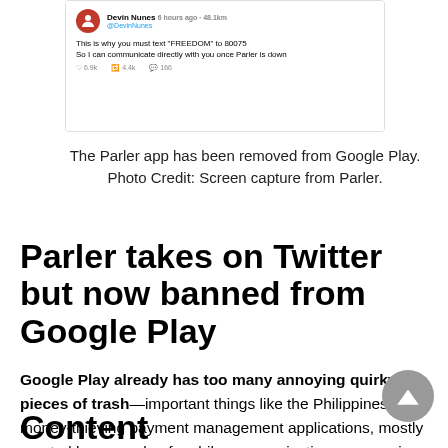[Figure (screenshot): Screenshot of a tweet by Devin Nunes asking followers to text FREEDOM to 80075, saying 'So I can communicate directly with you once Parler is down']
The Parler app has been removed from Google Play. Photo Credit: Screen capture from Parler.
Parler takes on Twitter but now banned from Google Play
Google Play already has too many annoying quirky pieces of trash—important things like the Philippines money-thieving payment management applications, mostly created by a couple of mobile communications companies which have a monopoly on smartphone communications that basically don't work properly.  Their apps are poorly written and tend to steal users money.
Content